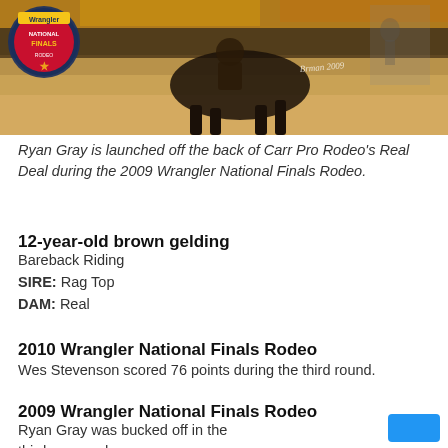[Figure (photo): Ryan Gray launched off the back of a horse at the 2009 Wrangler National Finals Rodeo, with the event logo visible in the top left corner and a signature in the center.]
Ryan Gray is launched off the back of Carr Pro Rodeo's Real Deal during the 2009 Wrangler National Finals Rodeo.
12-year-old brown gelding
Bareback Riding
SIRE: Rag Top
DAM: Real
2010 Wrangler National Finals Rodeo
Wes Stevenson scored 76 points during the third round.
2009 Wrangler National Finals Rodeo
Ryan Gray was bucked off in the third go-round.